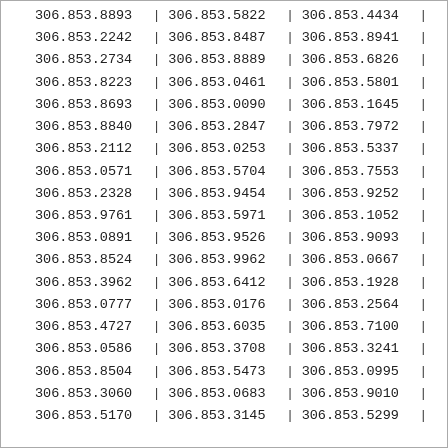| 306.853.8893 | | | 306.853.5822 | | | 306.853.4434 | | |
| 306.853.2242 | | | 306.853.8487 | | | 306.853.8941 | | |
| 306.853.2734 | | | 306.853.8889 | | | 306.853.6826 | | |
| 306.853.8223 | | | 306.853.0461 | | | 306.853.5801 | | |
| 306.853.8693 | | | 306.853.0090 | | | 306.853.1645 | | |
| 306.853.8840 | | | 306.853.2847 | | | 306.853.7972 | | |
| 306.853.2112 | | | 306.853.0253 | | | 306.853.5337 | | |
| 306.853.0571 | | | 306.853.5704 | | | 306.853.7553 | | |
| 306.853.2328 | | | 306.853.9454 | | | 306.853.9252 | | |
| 306.853.9761 | | | 306.853.5971 | | | 306.853.1052 | | |
| 306.853.0891 | | | 306.853.9526 | | | 306.853.9093 | | |
| 306.853.8524 | | | 306.853.9962 | | | 306.853.0667 | | |
| 306.853.3962 | | | 306.853.6412 | | | 306.853.1928 | | |
| 306.853.0777 | | | 306.853.0176 | | | 306.853.2564 | | |
| 306.853.4727 | | | 306.853.6035 | | | 306.853.7100 | | |
| 306.853.0586 | | | 306.853.3708 | | | 306.853.3241 | | |
| 306.853.8504 | | | 306.853.5473 | | | 306.853.0995 | | |
| 306.853.3060 | | | 306.853.0683 | | | 306.853.9010 | | |
| 306.853.5170 | | | 306.853.3145 | | | 306.853.5299 | | |